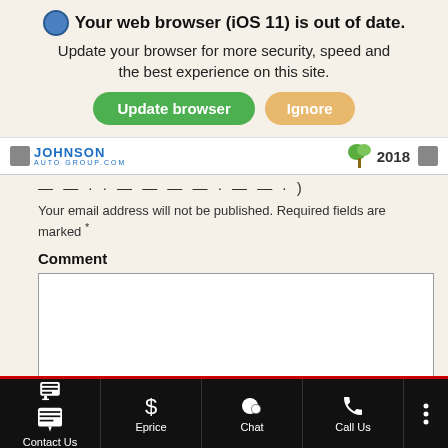[Figure (screenshot): Browser update notification banner with globe icon, bold heading 'Your web browser (iOS 11) is out of date.', subtitle text, and two buttons: green 'Update browser' and tan 'Ignore']
[Figure (screenshot): Johnson Auto Group logo and 2018 tree icon in site header strip]
— — · · — — — — · — — · )
Your email address will not be published. Required fields are marked *
Comment
[Figure (screenshot): Empty comment textarea input field]
Name *
[Figure (screenshot): Bottom navigation bar with Contact Us, Eprice, Chat, Call Us icons on black background]